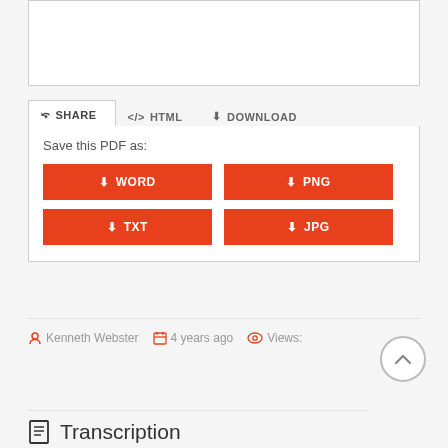[Figure (screenshot): Document page preview thumbnail area, white box with grey border]
SHARE   </> HTML   ⬇ DOWNLOAD
Save this PDF as:
⬇ WORD
⬇ PNG
⬇ TXT
⬇ JPG
Kenneth Webster   4 years ago   Views:
Transcription